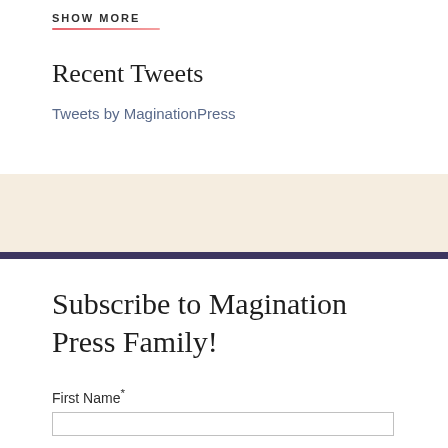SHOW MORE
Recent Tweets
Tweets by MaginationPress
Subscribe to Magination Press Family!
First Name*